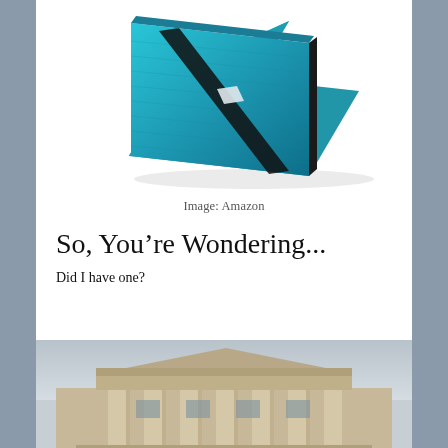[Figure (photo): A blue tablet case/cover with a diagonal strap, branded 'Paper Keeper', photographed at an angle on a white background.]
Image: Amazon
So, You’re Wondering...
Did I have one?
[Figure (photo): A photograph of a classical stone building with columns and a portico, taken from a low angle. The sky is overcast.]